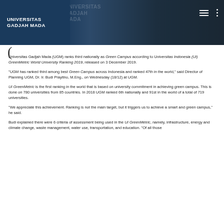UNIVERSITAS GADJAH MADA
Universitas Gadjah Mada (UGM) ranks third nationally as Green Campus according to Universitas Indonesia (UI) GreenMetric World University Ranking 2019, released on 3 December 2019.
“UGM has ranked third among best Green Campus across Indonesia and ranked 47th in the world,” said Director of Planning UGM, Dr. Ir. Budi Prayitno, M.Eng., on Wednesday (18/12) at UGM.
UI GreenMetric is the first ranking in the world that is based on university commitment in achieving green campus. This is done on 780 universities from 85 countries. In 2018 UGM ranked 6th nationally and 91st in the world of a total of 719 universities.
“We appreciate this achievement. Ranking is not the main target, but it triggers us to achieve a smart and green campus,” he said.
Budi explained there were 6 criteria of assessment being used in the UI GreenMetric, namely, infrastructure, energy and climate change, waste management, water use, transportation, and education. “Of all those